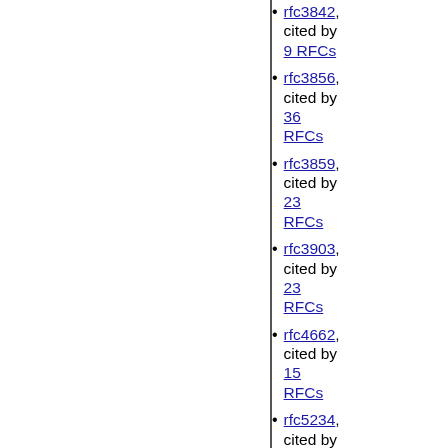rfc3842, cited by 9 RFCs
rfc3856, cited by 36 RFCs
rfc3859, cited by 23 RFCs
rfc3903, cited by 23 RFCs
rfc4662, cited by 15 RFCs
rfc5234, cited by 437 RFCs
rfc5741, cited by 2136 RFCs